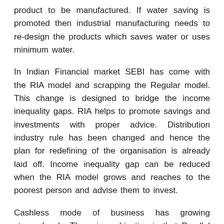product to be manufactured. If water saving is promoted then industrial manufacturing needs to re-design the products which saves water or uses minimum water.
In Indian Financial market SEBI has come with the RIA model and scrapping the Regular model. This change is designed to bridge the income inequality gaps. RIA helps to promote savings and investments with proper advice. Distribution industry rule has been changed and hence the plan for redefining of the organisation is already laid off. Income inequality gap can be reduced when the RIA model grows and reaches to the poorest person and advise them to invest.
Cashless mode of business has growing stupendously. The prime objective is that Parallel economic growth needs to be closed. Sweden is the country which has taken a total cashless objective. If you visit Sweden, be sure to take your credit card or mobile phone with you. Only 15% of payments involve cash transactions, and it's rare that a person will be limited to paying with cash. A popular mobile payment app, Swish, used by half of the